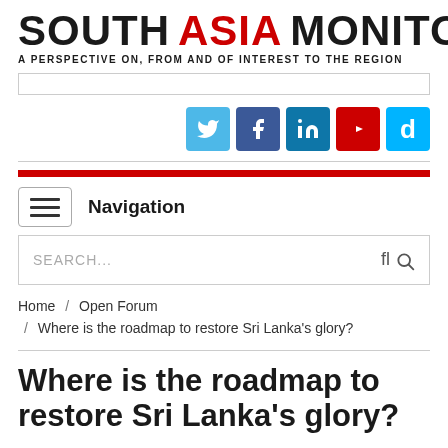SOUTH ASIA MONITOR — A PERSPECTIVE ON, FROM AND OF INTEREST TO THE REGION
[Figure (logo): Social media icons: Twitter, Facebook, LinkedIn, YouTube, Dailymotion]
Navigation
SEARCH...
Home / Open Forum / Where is the roadmap to restore Sri Lanka's glory?
Where is the roadmap to restore Sri Lanka's glory?